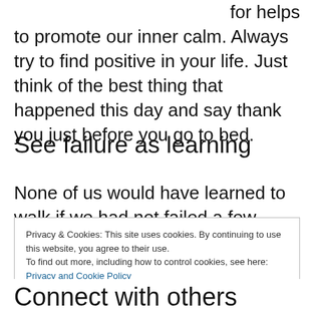for helps to promote our inner calm. Always try to find positive in your life. Just think of the best thing that happened this day and say thank you just before you go to bed.
See failure as learning
None of us would have learned to walk if we had not failed a few times first. To improve in
Privacy & Cookies: This site uses cookies. By continuing to use this website, you agree to their use.
To find out more, including how to control cookies, see here: Privacy and Cookie Policy
Connect with others